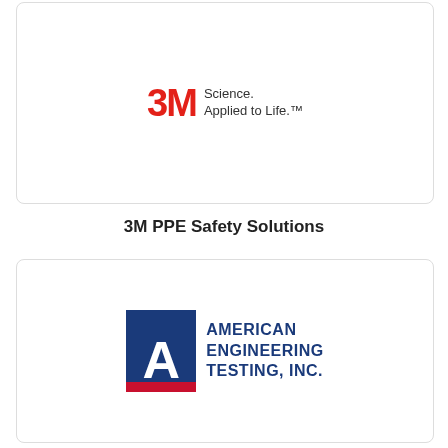[Figure (logo): 3M Science. Applied to Life. logo in a rounded rectangle card]
3M PPE Safety Solutions
[Figure (logo): American Engineering Testing, Inc. logo with blue square containing white letter A and red bar, next to blue text]
American Engineering Testing
[Figure (logo): Orange letter A logo partially visible in rounded rectangle card at bottom]